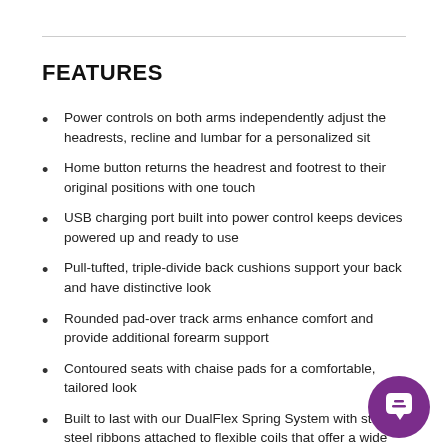FEATURES
Power controls on both arms independently adjust the headrests, recline and lumbar for a personalized sit
Home button returns the headrest and footrest to their original positions with one touch
USB charging port built into power control keeps devices powered up and ready to use
Pull-tufted, triple-divide back cushions support your back and have distinctive look
Rounded pad-over track arms enhance comfort and provide additional forearm support
Contoured seats with chaise pads for a comfortable, tailored look
Built to last with our DualFlex Spring System with sturdy steel ribbons attached to flexible coils that offer a wide range of motion and durability
High-density cushions consist of a high-resiliency,